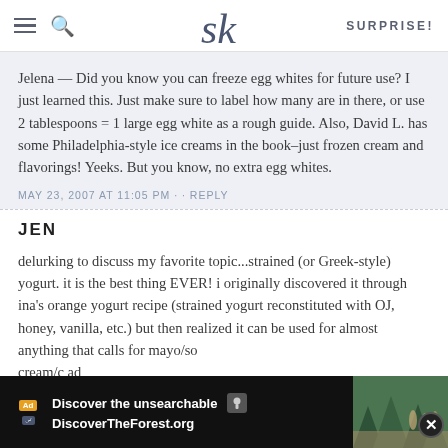SK | SURPRISE!
Jelena — Did you know you can freeze egg whites for future use? I just learned this. Just make sure to label how many are in there, or use 2 tablespoons = 1 large egg white as a rough guide. Also, David L. has some Philadelphia-style ice creams in the book–just frozen cream and flavorings! Yeeks. But you know, no extra egg whites.
MAY 23, 2007 AT 11:05 PM · · REPLY
JEN
delurking to discuss my favorite topic...strained (or Greek-style) yogurt. it is the best thing EVER! i originally discovered it through ina's orange yogurt recipe (strained yogurt reconstituted with OJ, honey, vanilla, etc.) but then realized it can be used for almost anything that calls for mayo/so cream/c ad instead most
[Figure (screenshot): Advertisement overlay at the bottom: 'Discover the unsearchable' / 'DiscoverTheForest.org' with a forest photo and a close button.]